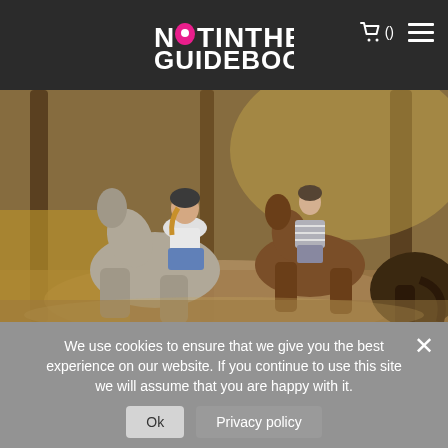Not In The Guidebooks - Navigation header with logo, cart icon, and hamburger menu
[Figure (photo): Two women horseback riding through a sun-dappled dry landscape with pine trees. The foreground rider is on a grey horse, wearing a helmet and white t-shirt. The background rider is on a brown horse, wearing a helmet and striped shirt. The terrain is dusty with dry golden grass.]
We use cookies to ensure that we give you the best experience on our website. If you continue to use this site we will assume that you are happy with it.
Ok   Privacy policy